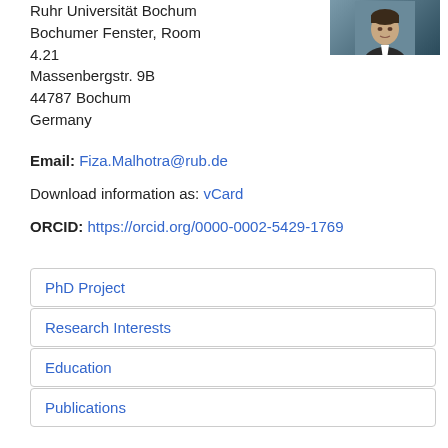[Figure (photo): Profile photo of a person against a dark background, partial crop showing face/upper body]
Ruhr Universität Bochum
Bochumer Fenster, Room 4.21
Massenbergstr. 9B
44787 Bochum
Germany
Email: Fiza.Malhotra@rub.de
Download information as: vCard
ORCID: https://orcid.org/0000-0002-5429-1769
PhD Project
Research Interests
Education
Publications